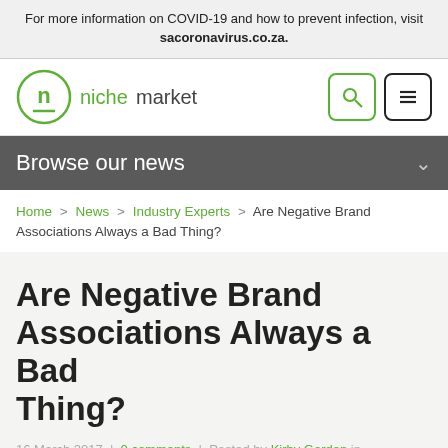For more information on COVID-19 and how to prevent infection, visit sacoronavirus.co.za.
[Figure (logo): Nichemarket logo with green circle containing letter n and text 'nichemarket']
Browse our news
Home > News > Industry Experts > Are Negative Brand Associations Always a Bad Thing?
Are Negative Brand Associations Always a Bad Thing?
16 March 2017 | 0 comments | Posted by Kirby Gordon in